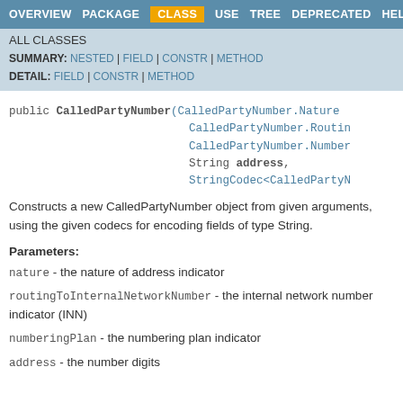OVERVIEW | PACKAGE | CLASS | USE | TREE | DEPRECATED | HELP
ALL CLASSES
SUMMARY: NESTED | FIELD | CONSTR | METHOD
DETAIL: FIELD | CONSTR | METHOD
public CalledPartyNumber(CalledPartyNumber.Nature
                         CalledPartyNumber.Routin
                         CalledPartyNumber.Number
                         String address,
                         StringCodec<CalledPartyN
Constructs a new CalledPartyNumber object from given arguments, using the given codecs for encoding fields of type String.
Parameters:
nature - the nature of address indicator
routingToInternalNetworkNumber - the internal network number indicator (INN)
numberingPlan - the numbering plan indicator
address - the number digits